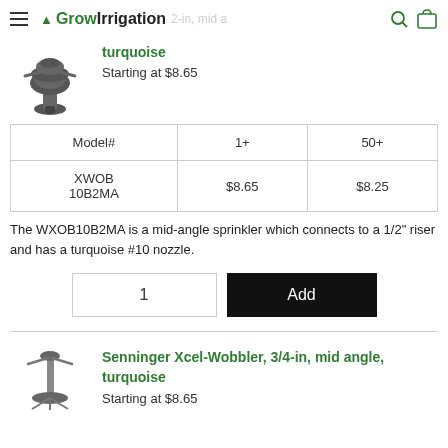GrowIrrigation 2-in, mid angle
turquoise
Starting at $8.65
[Figure (photo): Black plastic mid-angle wobbler sprinkler head with threaded base]
| Model# | 1+ | 50+ |
| --- | --- | --- |
| XWOB 10B2MA | $8.65 | $8.25 |
The WXOB10B2MA is a mid-angle sprinkler which connects to a 1/2" riser and has a turquoise #10 nozzle.
Senninger Xcel-Wobbler, 3/4-in, mid angle, turquoise
Starting at $8.65
[Figure (photo): Plastic mid-angle wobbler sprinkler on tall riser mount]